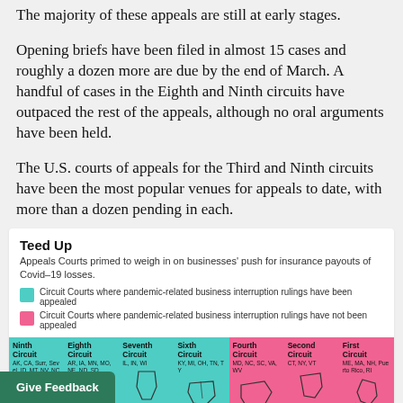The majority of these appeals are still at early stages.
Opening briefs have been filed in almost 15 cases and roughly a dozen more are due by the end of March. A handful of cases in the Eighth and Ninth circuits have outpaced the rest of the appeals, although no oral arguments have been held.
The U.S. courts of appeals for the Third and Ninth circuits have been the most popular venues for appeals to date, with more than a dozen pending in each.
[Figure (infographic): Infographic titled 'Teed Up' showing a map of US circuit courts color-coded by whether pandemic-related business interruption rulings have been appealed (teal) or not (pink). Circuits shown: Ninth, Eighth, Seventh, Sixth (teal); Fourth, Second, First (pink). Legend explains teal = appealed, pink = not appealed.]
Teed Up — Appeals Courts primed to weigh in on businesses' push for insurance payouts of Covid-19 losses.